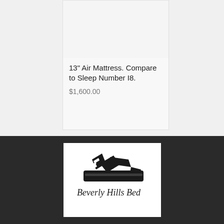13" Air Mattress. Compare to Sleep Number I8.
$1,600.00
[Figure (logo): Beverly Hills Bed logo — stylized image of a person lying on a bed with black graphic shapes above, and cursive text reading 'Beverly Hills Bed' below]